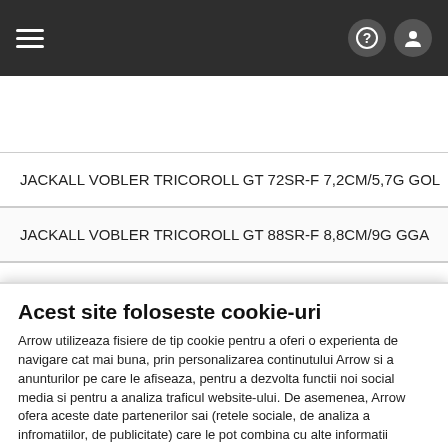Navigation bar with hamburger menu, help icon, and user icon
JACKALL VOBLER TRICOROLL GT 72SR-F 7,2CM/5,7G GOL
JACKALL VOBLER TRICOROLL GT 88SR-F 8,8CM/9G GGA
JACKALL VOBLER TRICOROLL GT 88MD-F 8,8CM/10,8G GL
JACKALL VOBLER TRICOROLL GT 88MD-F 8,8CM/10,8G SR
JACKALL VOBLER TRICOROLL GT 88MD-F 8,8CM/10,8G FO
Acest site foloseste cookie-uri
Arrow utilizeaza fisiere de tip cookie pentru a oferi o experienta de navigare cat mai buna, prin personalizarea continutului Arrow si a anunturilor pe care le afiseaza, pentru a dezvolta functii noi social media si pentru a analiza traficul website-ului. De asemenea, Arrow ofera aceste date partenerilor sai (retele sociale, de analiza a infromatiilor, de publicitate) care le pot combina cu alte informatii obtinute de ei direct sau indirect. Prin continuarea navigarii pe website-ul nostru, sunteti de acord cu utilizarea modulelor noastre cookie.
Politica de Cookie
Politica de Confidentialitate
Accept
Setari